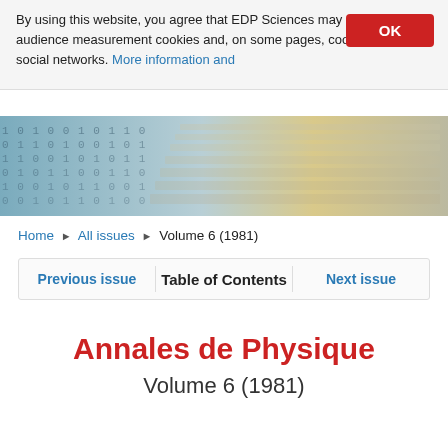By using this website, you agree that EDP Sciences may store web audience measurement cookies and, on some pages, cookies from social networks. More information and
[Figure (photo): Abstract banner image showing binary numbers and layered pages with blue and golden tones]
Home > All issues > Volume 6 (1981)
Previous issue | Table of Contents | Next issue
Annales de Physique
Volume 6 (1981)